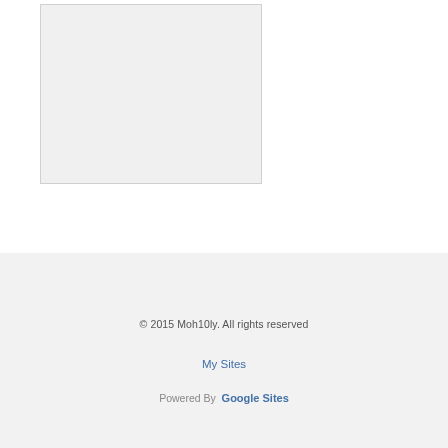[Figure (other): A light grey empty rectangle/placeholder image box in the upper left portion of the page]
© 2015 Moh10ly. All rights reserved
My Sites
Powered By  Google Sites